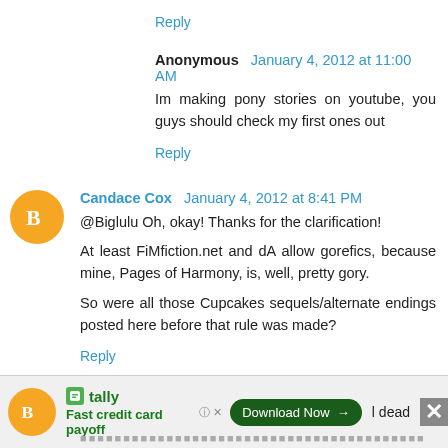Reply
Anonymous  January 4, 2012 at 11:00 AM
Im  making  pony  stories  on  youtube,  you  guys  should check my first ones out
Reply
Candace Cox  January 4, 2012 at 8:41 PM
@Biglulu Oh, okay! Thanks for the clarification!
At least FiMfiction.net and dA allow gorefics, because mine, Pages of Harmony, is, well, pretty gory.
So were all those Cupcakes sequels/alternate endings posted here before that rule was made?
Reply
[Figure (infographic): Advertisement bar: Blogger avatar icon (orange circle with B), Tally app logo and 'Fast credit card payoff' text, 'Download Now' green button with arrow, close/X icons, partial text '...l dead', dotted line row at bottom]